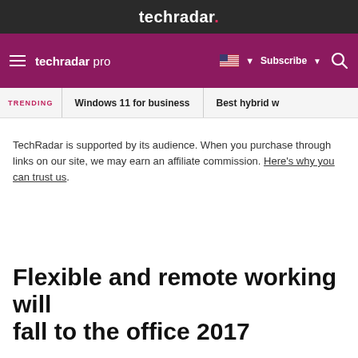techradar.
techradar pro  Subscribe
TRENDING  Windows 11 for business  Best hybrid w
TechRadar is supported by its audience. When you purchase through links on our site, we may earn an affiliate commission. Here's why you can trust us.
Flexible and remote working will fall to the office 2017